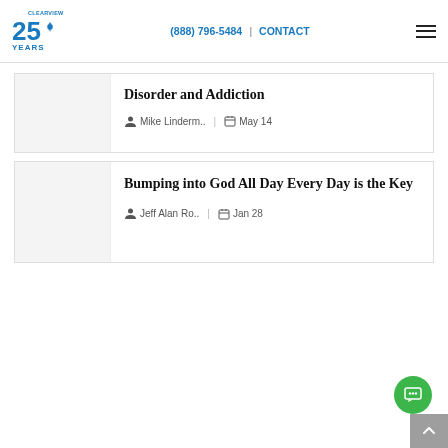(888) 796-5484 | CONTACT
Disorder and Addiction
Mike Linderm.. | May 14
Bumping into God All Day Every Day is the Key
Jeff Alan Ro.. | Jan 28